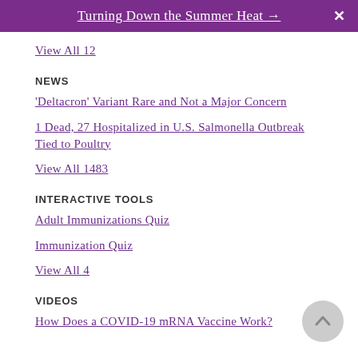Turning Down the Summer Heat →
View All 12
NEWS
'Deltacron' Variant Rare and Not a Major Concern
1 Dead, 27 Hospitalized in U.S. Salmonella Outbreak Tied to Poultry
View All 1483
INTERACTIVE TOOLS
Adult Immunizations Quiz
Immunization Quiz
View All 4
VIDEOS
How Does a COVID-19 mRNA Vaccine Work?